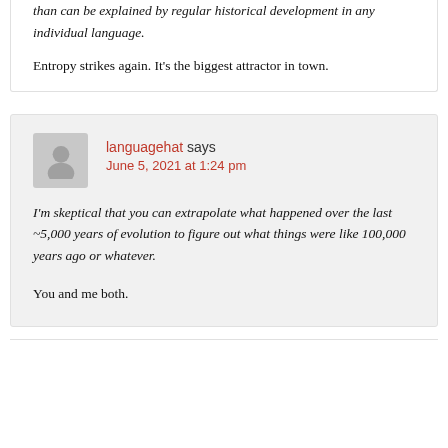than can be explained by regular historical development in any individual language.
Entropy strikes again. It's the biggest attractor in town.
languagehat says June 5, 2021 at 1:24 pm
I'm skeptical that you can extrapolate what happened over the last ~5,000 years of evolution to figure out what things were like 100,000 years ago or whatever.
You and me both.